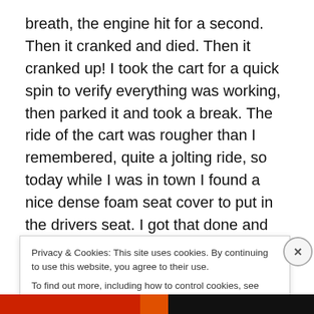breath, the engine hit for a second. Then it cranked and died. Then it cranked up! I took the cart for a quick spin to verify everything was working, then parked it and took a break. The ride of the cart was rougher than I remembered, quite a jolting ride, so today while I was in town I found a nice dense foam seat cover to put in the drivers seat. I got that done and added some foam pipe insulation to the roll bars. I had the pipe insulation left over from where I had to redo our well about a year ago… Anyway it was all worth it, as I watched my son having a great time tooling around on the cart as I was cutting
Privacy & Cookies: This site uses cookies. By continuing to use this website, you agree to their use.
To find out more, including how to control cookies, see here: Cookie Policy